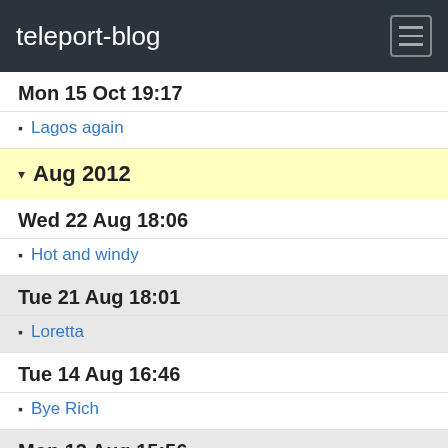teleport-blog
Mon 15 Oct 19:17
Lagos again
▾ Aug 2012
Wed 22 Aug 18:06
Hot and windy
Tue 21 Aug 18:01
Loretta
Tue 14 Aug 16:46
Bye Rich
Mon 13 Aug 15:56
Lagos 2 by Rich
Lagos
Fri 10 Aug 19:47
Setubal
Wed 8 Aug 18:08